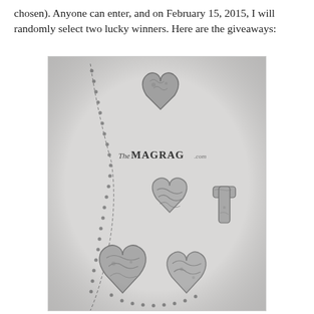chosen). Anyone can enter, and on February 15, 2015, I will randomly select two lucky winners. Here are the giveaways:
[Figure (photo): Black and white / grayscale photograph of decorative metal jewelry pieces including heart-shaped pendants and a cross pendant, arranged on a light fabric background with ball chain necklaces. The MagRag.com logo/text is visible in the center of the image.]